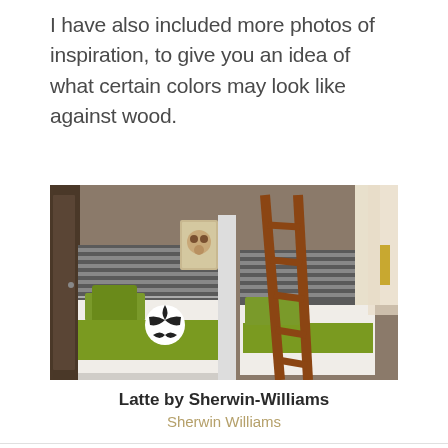I have also included more photos of inspiration, to give you an idea of what certain colors may look like against wood.
[Figure (photo): Interior bedroom photo showing two twin beds with green blankets and throw pillows, a wood ladder leaning against a bunk bed, striped headboards, and a soccer ball on one of the beds. Dog portrait artwork on the wall.]
Latte by Sherwin-Williams
Sherwin Williams
[Figure (photo): Partial view of a second interior room photo, mostly white/cream tones, partially cut off at bottom of page.]